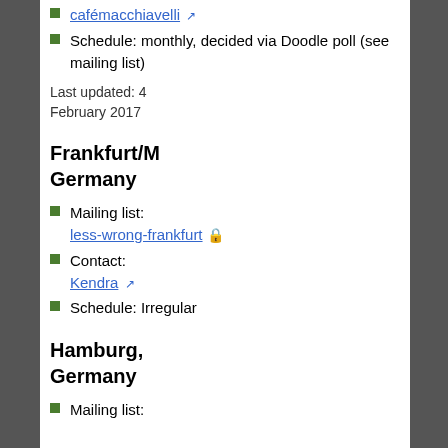cafémacchiavelli [external link]
Schedule: monthly, decided via Doodle poll (see mailing list)
Last updated: 4 February 2017
Frankfurt/M..., Germany
Mailing list: less-wrong-frankfurt [lock icon]
Contact: Kendra [external link]
Schedule: Irregular
Hamburg, Germany
Mailing list: